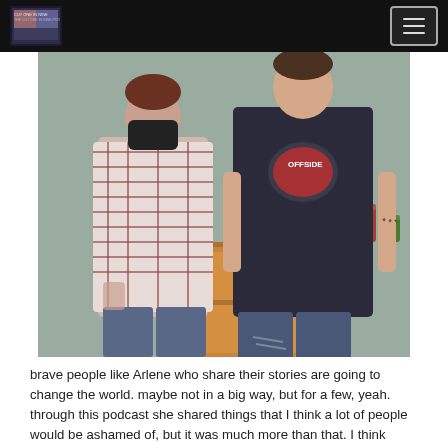[Site logo and navigation menu]
[Figure (photo): Two people standing side by side in front of a wooden dresser with canned goods on top. The person on the left wears a black face mask and a plaid flannel shirt with jeans. The person on the right wears a dark navy t-shirt with a logo reading 'OFFSIDE' and jeans with ripped knees, with a visible arm tattoo.]
brave people like Arlene who share their stories are going to change the world. maybe not in a big way, but for a few, yeah. through this podcast she shared things that I think a lot of people would be ashamed of, but it was much more than that. I think being able to share her story on our (small) platform is